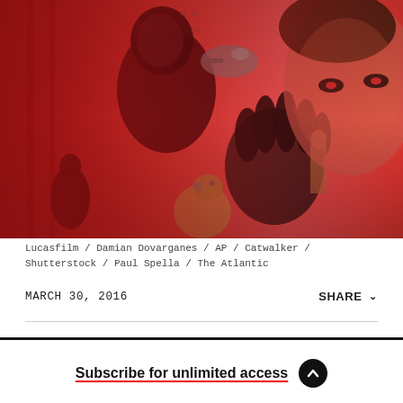[Figure (illustration): Star Wars themed composite artwork with red tint showing characters including Kylo Ren, Rey, BB-8, and the Millennium Falcon on a red and black background with lightsaber effects]
Lucasfilm / Damian Dovarganes / AP / Catwalker / Shutterstock / Paul Spella / The Atlantic
MARCH 30, 2016
SHARE
Subscribe for unlimited access